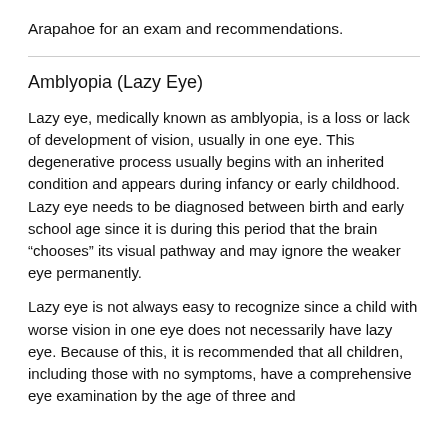Arapahoe for an exam and recommendations.
Amblyopia (Lazy Eye)
Lazy eye, medically known as amblyopia, is a loss or lack of development of vision, usually in one eye. This degenerative process usually begins with an inherited condition and appears during infancy or early childhood. Lazy eye needs to be diagnosed between birth and early school age since it is during this period that the brain “chooses” its visual pathway and may ignore the weaker eye permanently.
Lazy eye is not always easy to recognize since a child with worse vision in one eye does not necessarily have lazy eye. Because of this, it is recommended that all children, including those with no symptoms, have a comprehensive eye examination by the age of three and